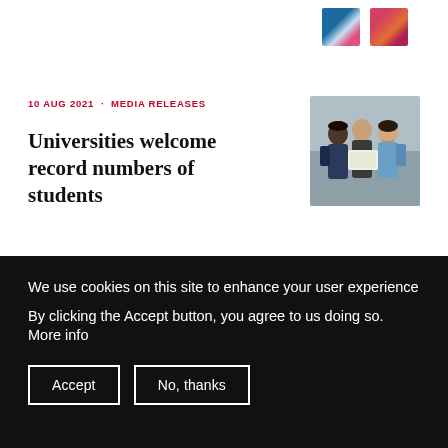[Figure (photo): Partial view of two thumbnail images from a previous article card — one with blue/flag graphic, one with red/orange image]
10 AUG 2021 · MEDIA RELEASES
Universities welcome record numbers of students
[Figure (photo): Three university students looking at a book or tablet together outdoors, one wearing a denim jacket]
13 DEC 2021 · DATA
We use cookies on this site to enhance your user experience
By clicking the Accept button, you agree to us doing so. More info
Accept
No, thanks